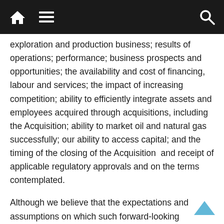[Navigation bar with home, menu, and search icons]
exploration and production business; results of operations; performance; business prospects and opportunities; the availability and cost of financing, labour and services; the impact of increasing competition; ability to efficiently integrate assets and employees acquired through acquisitions, including the Acquisition; ability to market oil and natural gas successfully; our ability to access capital; and the timing of the closing of the Acquisition  and receipt of applicable regulatory approvals and on the terms contemplated.
Although we believe that the expectations and assumptions on which such forward-looking information is based are reasonable, undue reliance should not be placed on the forward-looking information because Whitecap can give no assurance